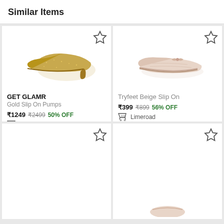Similar Items
[Figure (photo): Gold glitter high heel pump shoe - GET GLAMR product]
GET GLAMR
Gold Slip On Pumps
₹1249 ₹2499 50% OFF
Tatacliq + 2 Stores
[Figure (photo): Beige ballet flat shoe with bow - Tryfeet product]
Tryfeet Beige Slip On
₹399 ₹899 56% OFF
Limeroad
[Figure (photo): Partially visible shoe card at bottom left]
[Figure (photo): Partially visible shoe card at bottom right]